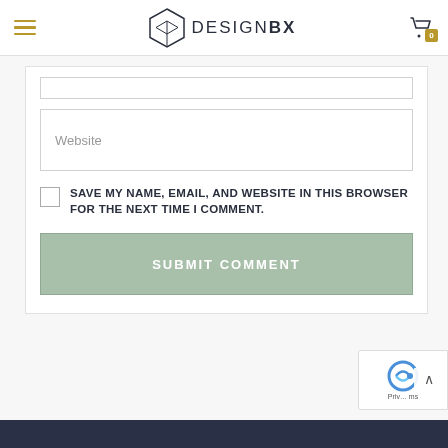DESIGNBX — navigation header with hamburger menu and cart
[Figure (screenshot): Website input field (partially visible at top, cut off)]
[Figure (screenshot): Website text input field with placeholder text 'Website']
SAVE MY NAME, EMAIL, AND WEBSITE IN THIS BROWSER FOR THE NEXT TIME I COMMENT.
[Figure (screenshot): SUBMIT COMMENT button in sage green color]
[Figure (screenshot): reCAPTCHA badge and scroll to top arrow in lower right corner]